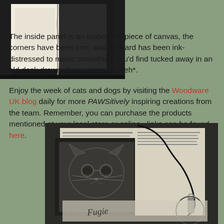[Figure (photo): A dark-colored folded card or booklet with embossed canvas panel, photographed against a white background]
The inside panel is an embossed piece of canvas, the corners have been torn, and the card has been ink-distressed to mimic something you'd find tucked away in an old desk drawer by a previous kitteh*.
Enjoy the week of cats and dogs by visiting the Woodware UK blog daily for more PAWSitively inspiring creations from the team. Remember, you can purchase the products mentioned at your local store or online...links can be found here.
[Figure (photo): A crafted card featuring an embossed cat image, text on newspaper-style background, with a black cord, tag and key charm decoration, with handwritten text reading 'Fugie']